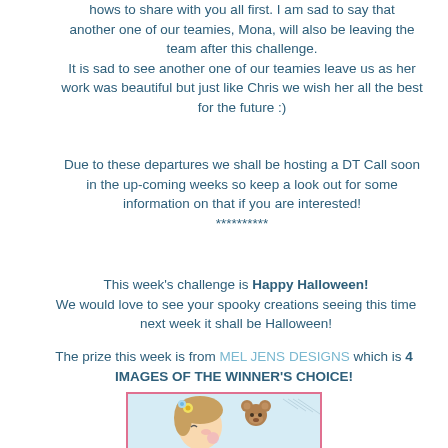hows to share with you all first. I am sad to say that another one of our teamies, Mona, will also be leaving the team after this challenge. It is sad to see another one of our teamies leave us as her work was beautiful but just like Chris we wish her all the best for the future :)
Due to these departures we shall be hosting a DT Call soon in the up-coming weeks so keep a look out for some information on that if you are interested! **********
This week's challenge is Happy Halloween! We would love to see your spooky creations seeing this time next week it shall be Halloween!
The prize this week is from MEL JENS DESIGNS which is 4 IMAGES OF THE WINNER'S CHOICE!
[Figure (illustration): Illustration of a cartoon girl with flowers hugging a teddy bear, with a pink border frame]